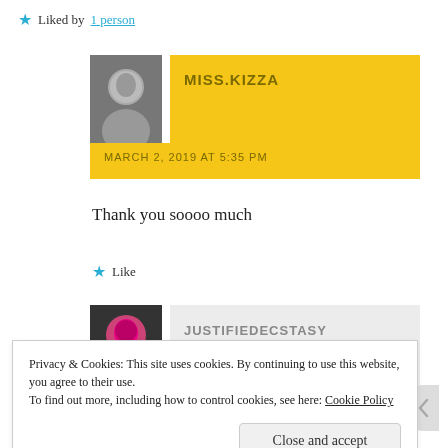★ Liked by 1 person
MISS.KIZZA
MARCH 2, 2019 AT 5:35 PM
Thank you soooo much
★ Like
JUSTIFIEDECSTASY
Privacy & Cookies: This site uses cookies. By continuing to use this website, you agree to their use. To find out more, including how to control cookies, see here: Cookie Policy
Close and accept